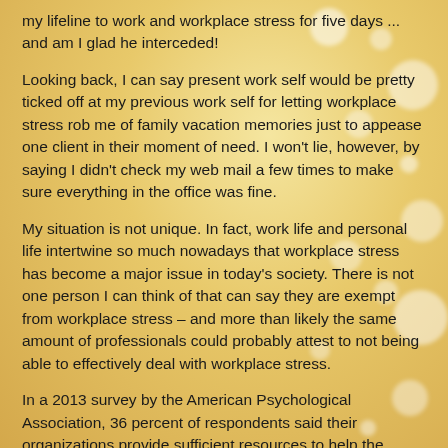my lifeline to work and workplace stress for five days ... and am I glad he interceded!
Looking back, I can say present work self would be pretty ticked off at my previous work self for letting workplace stress rob me of family vacation memories just to appease one client in their moment of need. I won't lie, however, by saying I didn't check my web mail a few times to make sure everything in the office was fine.
My situation is not unique. In fact, work life and personal life intertwine so much nowadays that workplace stress has become a major issue in today's society. There is not one person I can think of that can say they are exempt from workplace stress – and more than likely the same amount of professionals could probably attest to not being able to effectively deal with workplace stress.
In a 2013 survey by the American Psychological Association, 36 percent of respondents said their organizations provide sufficient resources to help the manage stress. This means there are a lot of stressed-out professionals working in the same office spaces of your company that barely affect...